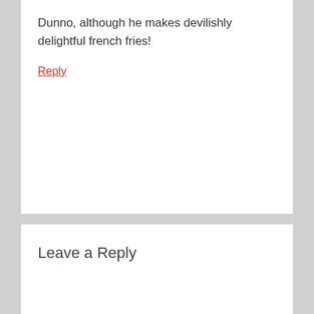Dunno, although he makes devilishly delightful french fries!
Reply
Leave a Reply